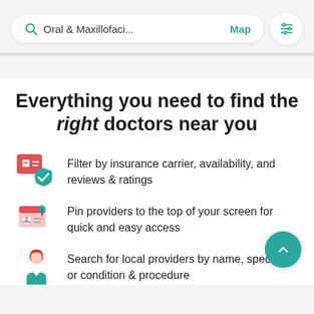[Figure (screenshot): Search bar with teal search icon, text 'Oral & Maxillofaci...', teal 'Map' link, and a filter button with horizontal sliders icon]
Everything you need to find the right doctors near you
Filter by insurance carrier, availability, and reviews & ratings
Pin providers to the top of your screen for quick and easy access
Search for local providers by name, specialty, or condition & procedure